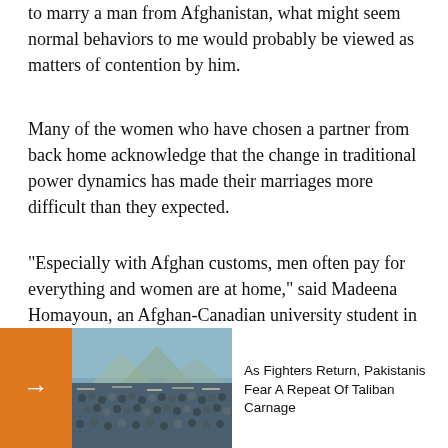to marry a man from Afghanistan, what might seem normal behaviors to me would probably be viewed as matters of contention by him.
Many of the women who have chosen a partner from back home acknowledge that the change in traditional power dynamics has made their marriages more difficult than they expected.
"Especially with Afghan customs, men often pay for everything and women are at home," said Madeena Homayoun, an Afghan-Canadian university student in Toronto. "So I think that they lose a sense of pride or a sense of identity, and coupled with being in a new country, this may lead to frustration or even depression... negatively."
[Figure (photo): Crowd of people at a large outdoor gathering, with mountains visible in background. Related article thumbnail.]
As Fighters Return, Pakistanis Fear A Repeat Of Taliban Carnage